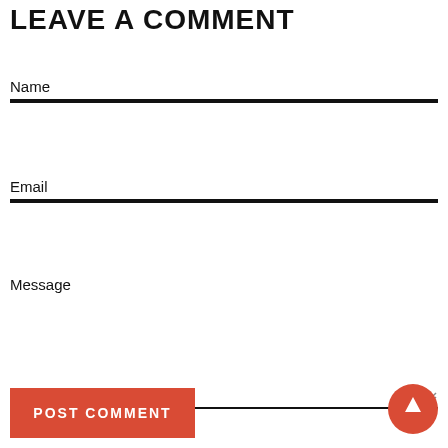LEAVE A COMMENT
Name
Email
Message
POST COMMENT